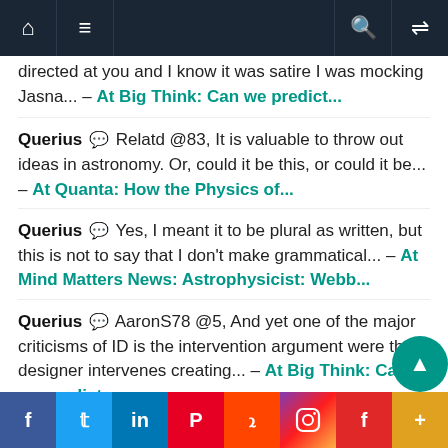Navigation bar with home, menu, search, and random icons
directed at you and I know it was satire I was mocking Jasna... – At Big Think: Can we predict...
Querius 💬 Relatd @83, It is valuable to throw out ideas in astronomy. Or, could it be this, or could it be... – At Quanta: How the Physics of...
Querius 💬 Yes, I meant it to be plural as written, but this is not to say that I don't make grammatical... – At Mind Matters News: Astrophysicist: Webb...
Querius 💬 AaronS78 @5, And yet one of the major criticisms of ID is the intervention argument were the designer intervenes creating... – At Big Think: Can we predict...
Querius 💬 AaronS1978 @3, The OP quoted the d...
Social share bar: Facebook, Twitter, LinkedIn, Pinterest, Reddit, Instagram, Flipboard, More